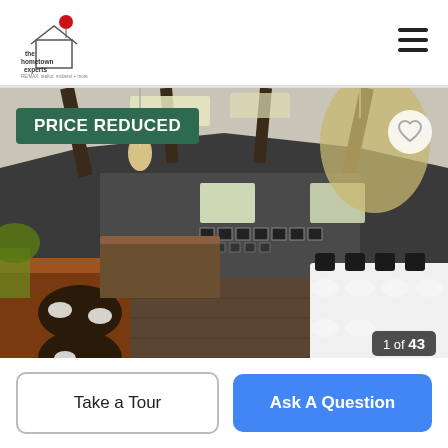[Figure (logo): The Hometown Experts Re/Max real estate logo with house icon and balloon]
[Figure (photo): Interior of a restaurant with leather booth seating, dark wood beams on vaulted ceiling, pendant lights, white marble dining table, and framed photos on back wall. PRICE REDUCED badge on upper left. Image counter '1 of 43' on lower right.]
PRICE REDUCED
1 of 43
Take a Tour
Ask A Question